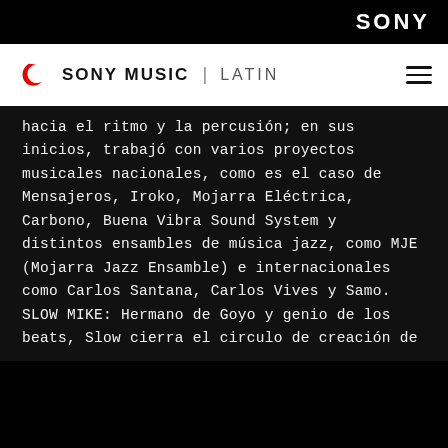SONY
SONY MUSIC | LATIN
hacia el ritmo y la percusión; en sus inicios, trabajó con varios proyectos musicales nacionales, como es el caso de Mensajeros, Iroko, Mojarra Eléctrica, Carbono, Buena Vibra Sound System y distintos ensambles de música jazz, como MJE (Mojarra Jazz Ensamble) e internacionales como Carlos Santana, Carlos Vives y Samo. SLOW MIKE: Hermano de Goyo y genio de los beats, Slow cierra el circulo de creación de